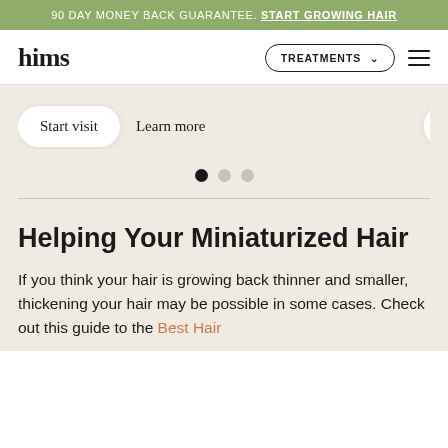90 DAY MONEY BACK GUARANTEE. START GROWING HAIR
[Figure (screenshot): Hims website navigation bar with logo 'hims', a 'TREATMENTS' dropdown button, and hamburger menu icon]
[Figure (screenshot): Hero section with 'Start visit' and 'Learn more' buttons on a beige background, with carousel dots indicator (3 dots, first active)]
Helping Your Miniaturized Hair
If you think your hair is growing back thinner and smaller, thickening your hair may be possible in some cases. Check out this guide to the Best Hair